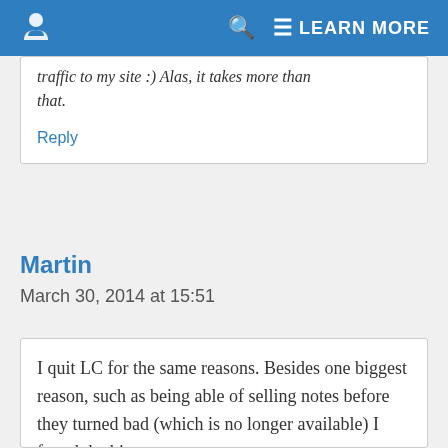LEARN MORE
traffic to my site :) Alas, it takes more than that.
Reply
Martin
March 30, 2014 at 15:51
I quit LC for the same reasons. Besides one biggest reason, such as being able of selling notes before they turned bad (which is no longer available) I found the biggest